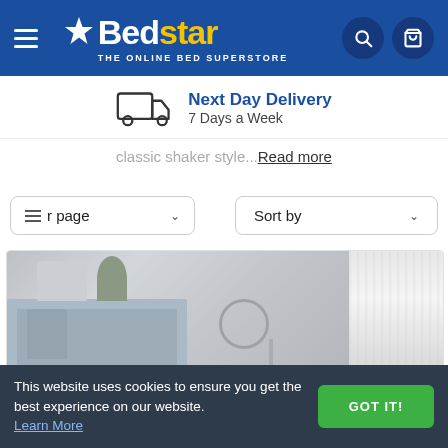[Figure (logo): Bedstar logo - white star icon with 'Bed' in white and 'star' in yellow, tagline 'THE ONLINE BED SUPERSTORE' on blue background]
Next Day Delivery
7 Days a Week
From contemporary white painted wooden beds to classic shaker style...Read more
r page  ∨
Sort by  ∨
[Figure (photo): Bedroom/living room product image showing a dresser with plants and a globe lamp]
This website uses cookies to ensure you get the best experience on our website. Learn More